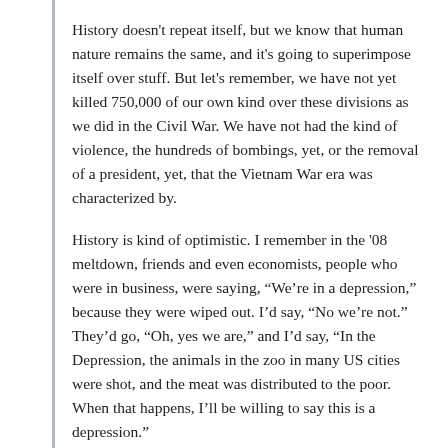History doesn't repeat itself, but we know that human nature remains the same, and it's going to superimpose itself over stuff. But let's remember, we have not yet killed 750,000 of our own kind over these divisions as we did in the Civil War. We have not had the kind of violence, the hundreds of bombings, yet, or the removal of a president, yet, that the Vietnam War era was characterized by.
History is kind of optimistic. I remember in the '08 meltdown, friends and even economists, people who were in business, were saying, “We’re in a depression,” because they were wiped out. I’d say, “No we’re not.” They’d go, “Oh, yes we are,” and I’d say, “In the Depression, the animals in the zoo in many US cities were shot, and the meat was distributed to the poor. When that happens, I’ll be willing to say this is a depression.”
All of a sudden, history’s an ally for an optimistic take.